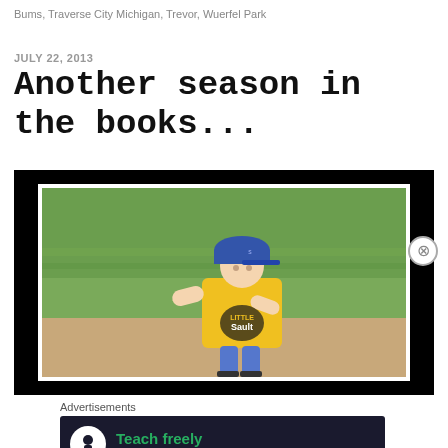Bums, Traverse City Michigan, Trevor, Wuerfel Park
JULY 22, 2013
Another season in the books...
[Figure (photo): A young boy wearing a yellow 'Little Sault' t-shirt and a blue baseball cap, running on a dirt field with green grass in the background. The photo has a black border and white inner frame mat.]
Advertisements
[Figure (infographic): Advertisement banner with dark background showing 'Teach freely - Make money selling online courses.' with a white tree/person icon.]